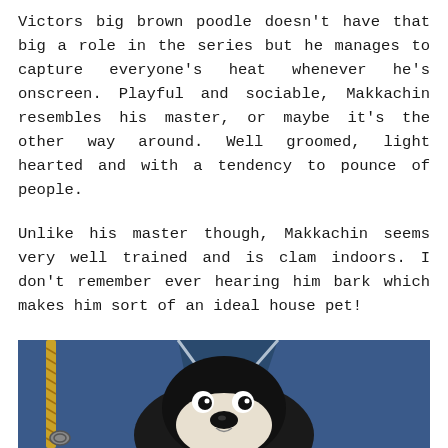Victors big brown poodle doesn't have that big a role in the series but he manages to capture everyone's heat whenever he's onscreen. Playful and sociable, Makkachin resembles his master, or maybe it's the other way around. Well groomed, light hearted and with a tendency to pounce of people.
Unlike his master though, Makkachin seems very well trained and is clam indoors. I don't remember ever hearing him bark which makes him sort of an ideal house pet!
[Figure (illustration): Anime screenshot showing a dark-colored dog (Makkachin) with a white face/muzzle, black eyes and nose, resting against or being held by a figure in a blue outfit with light grey trim details. A gold/yellow rope or lanyard is visible on the left side.]